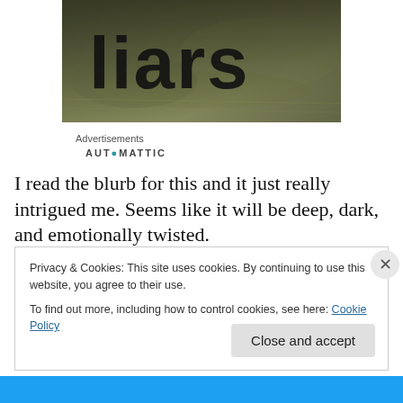[Figure (photo): A photograph showing large graffiti text reading 'liars' painted on a surface, with a dark, gritty urban aesthetic and water/reflection visible.]
Advertisements
AUTOMATTIC
I read the blurb for this and it just really intrigued me. Seems like it will be deep, dark, and emotionally twisted.
Privacy & Cookies: This site uses cookies. By continuing to use this website, you agree to their use.
To find out more, including how to control cookies, see here: Cookie Policy
Close and accept